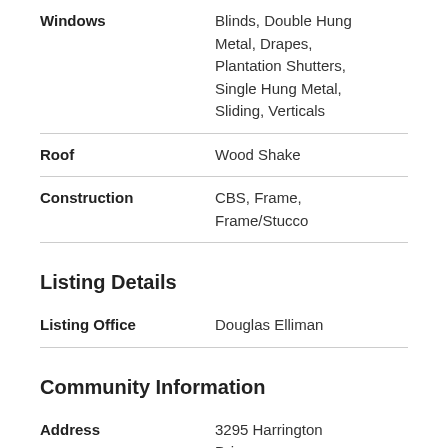| Property | Value |
| --- | --- |
| Windows | Blinds, Double Hung Metal, Drapes, Plantation Shutters, Single Hung Metal, Sliding, Verticals |
| Roof | Wood Shake |
| Construction | CBS, Frame, Frame/Stucco |
Listing Details
| Property | Value |
| --- | --- |
| Listing Office | Douglas Elliman |
Community Information
| Property | Value |
| --- | --- |
| Address | 3295 Harrington Drive |